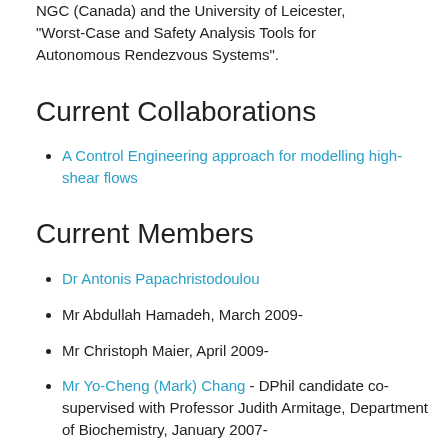NGC (Canada) and the University of Leicester, "Worst-Case and Safety Analysis Tools for Autonomous Rendezvous Systems".
Current Collaborations
A Control Engineering approach for modelling high-shear flows
Current Members
Dr Antonis Papachristodoulou
Mr Abdullah Hamadeh, March 2009-
Mr Christoph Maier, April 2009-
Mr Yo-Cheng (Mark) Chang - DPhil candidate co-supervised with Professor Judith Armitage, Department of Biochemistry, January 2007-
Mr Bence Melykuti, Probationary Research Student